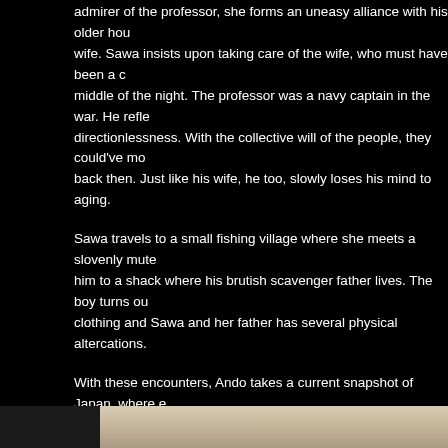admirer of the professor, she forms an uneasy alliance with his older hou wife. Sawa insists upon taking care of the wife, who must have been a c middle of the night. The professor was a navy captain in the war. He refle directionlessness. With the collective will of the people, they could've mo back then. Just like his wife, he too, slowly loses his mind to aging.
Sawa travels to a small fishing village where she meets a slovenly mute him to a shack where his brutish scavenger father lives. The boy turns ou clothing and Sawa and her father has several physical altercations.
With these encounters, Ando takes a current snapshot of Japan, where e dealt with. That they need to be respected and seen with compassion. S who lacks compassion. They are passing responsibilities of taking care o generation. In the center of 0.5mm is brave, ferocious, magnificent Saku wackiness of her character but also conveys deep compassion and unde counterparts. With 30 percent of Japan's population over the age of 65, i the first to tackle growing elderly population problems. Biting, uncompro impactful film mostly because its untethered, sprawling narrative. There a filmmakers who totally ignore the typical 3-act narrative structure- Sono S Ando is also the cut of the same cloth. There is a sense of freedom, fres
Asako I & II (2018) - Hamaguchi
[Figure (photo): Bottom strip showing a partial image with beige/tan toned background, partially visible at the bottom of the page.]